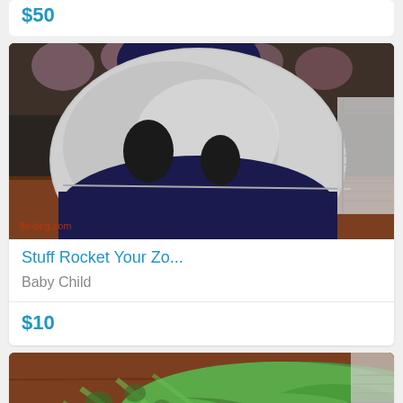$50
[Figure (photo): Close-up photo of a plush stuffed rocket/whale toy with dark navy blue and silver/grey coloring, lying on a wooden table with floral background. A watermark reads 'fle-beg.com' in red at the bottom left.]
Stuff Rocket Your Zo...
Baby Child
$10
[Figure (photo): Close-up photo of a green stuffed turtle plush toy with a patterned shell, lying on a wooden table. The turtle has a visible eye and green plush material.]